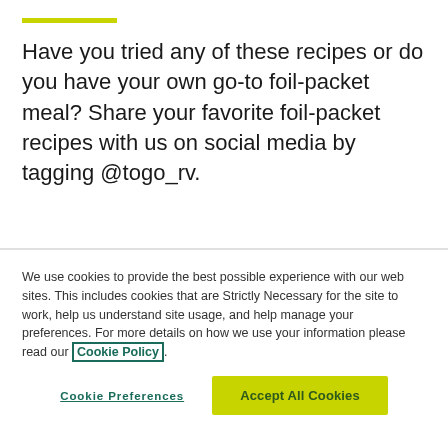Have you tried any of these recipes or do you have your own go-to foil-packet meal? Share your favorite foil-packet recipes with us on social media by tagging @togo_rv.
We use cookies to provide the best possible experience with our web sites. This includes cookies that are Strictly Necessary for the site to work, help us understand site usage, and help manage your preferences. For more details on how we use your information please read our Cookie Policy.
Cookie Preferences
Accept All Cookies